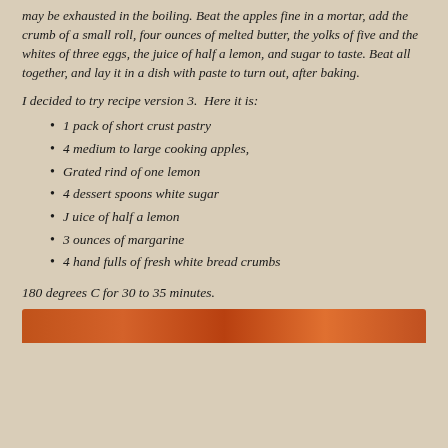may be exhausted in the boiling. Beat the apples fine in a mortar, add the crumb of a small roll, four ounces of melted butter, the yolks of five and the whites of three eggs, the juice of half a lemon, and sugar to taste. Beat all together, and lay it in a dish with paste to turn out, after baking.
I decided to try recipe version 3.  Here it is:
1 pack of short crust pastry
4 medium to large cooking apples,
Grated rind of one lemon
4 dessert spoons white sugar
J uice of half a lemon
3 ounces of margarine
4 hand fulls of fresh white bread crumbs
180 degrees C for 30 to 35 minutes.
[Figure (photo): Photo of a baked apple dish, partially visible at bottom of page]